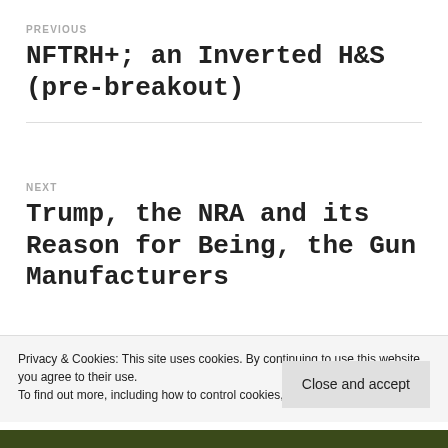PREVIOUS
NFTRH+; an Inverted H&S (pre-breakout)
NEXT
Trump, the NRA and its Reason for Being, the Gun Manufacturers
Privacy & Cookies: This site uses cookies. By continuing to use this website, you agree to their use. To find out more, including how to control cookies, see here: Cookie Policy
Close and accept